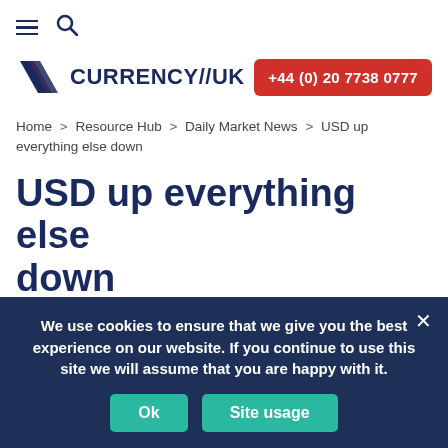☰ 🔍
[Figure (logo): Currency//UK logo with red and blue diagonal stripes and brand name CURRENCY//UK]
+44 (0) 20 7738 0777
Home > Resource Hub > Daily Market News > USD up everything else down
USD up everything else down
May 30th
2 minutes read
We use cookies to ensure that we give you the best experience on our website. If you continue to use this site we will assume that you are happy with it.